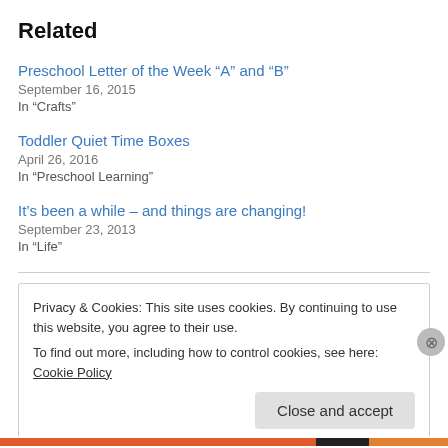Related
Preschool Letter of the Week “A” and “B”
September 16, 2015
In “Crafts”
Toddler Quiet Time Boxes
April 26, 2016
In “Preschool Learning”
It’s been a while – and things are changing!
September 23, 2013
In “Life”
Privacy & Cookies: This site uses cookies. By continuing to use this website, you agree to their use.
To find out more, including how to control cookies, see here: Cookie Policy